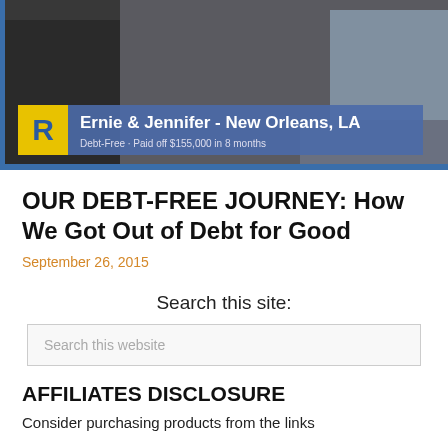[Figure (photo): TV screenshot showing people in a studio with overlay text: 'Ernie & Jennifer - New Orleans, LA' and 'Debt-Free · Paid off $155,000 in 8 months' with Ramsey Solutions R logo in yellow box]
OUR DEBT-FREE JOURNEY: How We Got Out of Debt for Good
September 26, 2015
Search this site:
Search this website
AFFILIATES DISCLOSURE
Consider purchasing products from the links